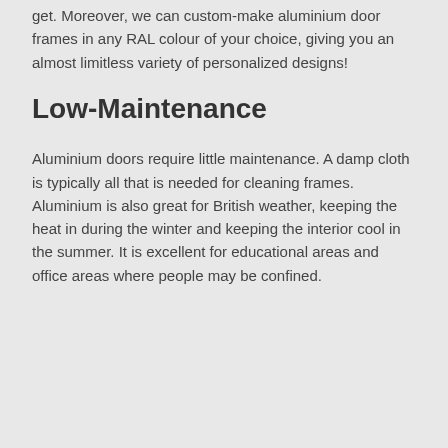get. Moreover, we can custom-make aluminium door frames in any RAL colour of your choice, giving you an almost limitless variety of personalized designs!
Low-Maintenance
Aluminium doors require little maintenance. A damp cloth is typically all that is needed for cleaning frames. Aluminium is also great for British weather, keeping the heat in during the winter and keeping the interior cool in the summer. It is excellent for educational areas and office areas where people may be confined.